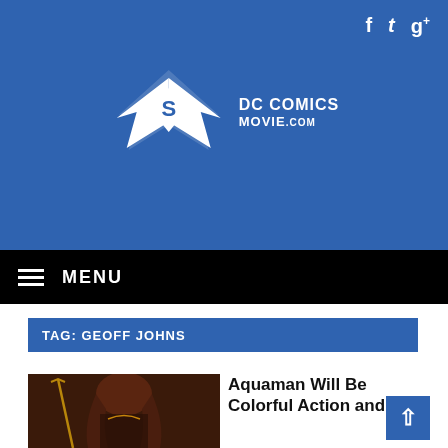[Figure (logo): DC Comics Movie.com logo — Batman/Superman shield with wings in white on blue background, with text DC COMICS MOVIE.com]
f  t  g+
≡  MENU
TAG: GEOFF JOHNS
[Figure (photo): Aquaman character with long hair and trident, dark reddish-brown tones]
Aquaman Will Be Colorful Action and...